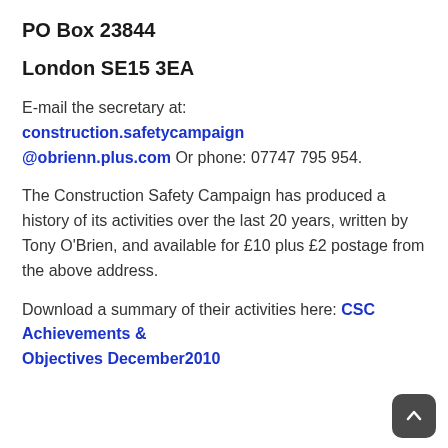PO Box 23844
London SE15 3EA
E-mail the secretary at: construction.safetycampaign@obrienn.plus.com Or phone: 07747 795 954.
The Construction Safety Campaign has produced a history of its activities over the last 20 years, written by Tony O'Brien, and available for £10 plus £2 postage from the above address.
Download a summary of their activities here: CSC Achievements & Objectives December2010